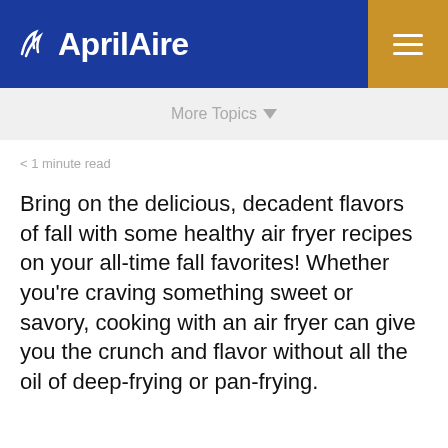[Figure (logo): AprilAire logo in white on blue background with hamburger menu icon on gold/amber background]
More Topics ▾
< 1 minute read
Bring on the delicious, decadent flavors of fall with some healthy air fryer recipes on your all-time fall favorites! Whether you're craving something sweet or savory, cooking with an air fryer can give you the crunch and flavor without all the oil of deep-frying or pan-frying.